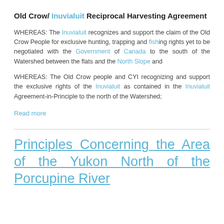Old Crow/ Inuvialuit Reciprocal Harvesting Agreement
WHEREAS: The Inuvialuit recognizes and support the claim of the Old Crow People for exclusive hunting, trapping and fishing rights yet to be negotiated with the Government of Canada to the south of the Watershed between the flats and the North Slope and
WHEREAS: The Old Crow people and CYI recognizing and support the exclusive rights of the Inuvialuit as contained in the Inuvialuit Agreement-in-Principle to the north of the Watershed;
Read more
Principles Concerning the Area of the Yukon North of the Porcupine River